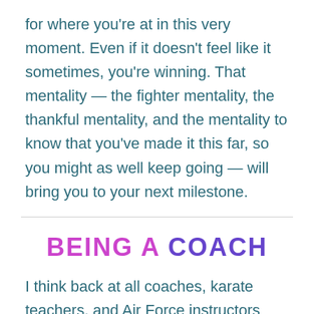for where you're at in this very moment. Even if it doesn't feel like it sometimes, you're winning. That mentality — the fighter mentality, the thankful mentality, and the mentality to know that you've made it this far, so you might as well keep going — will bring you to your next milestone.
BEING A COACH
I think back at all coaches, karate teachers, and Air Force instructors that I had throughout my life